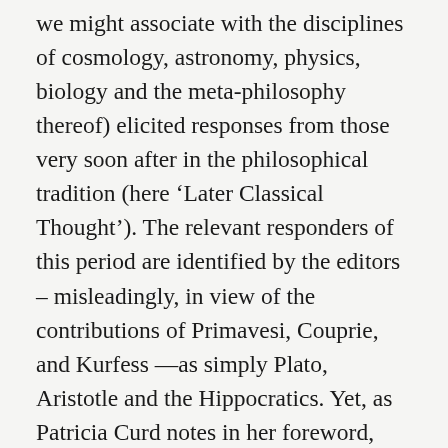we might associate with the disciplines of cosmology, astronomy, physics, biology and the meta-philosophy thereof) elicited responses from those very soon after in the philosophical tradition (here ‘Later Classical Thought’). The relevant responders of this period are identified by the editors – misleadingly, in view of the contributions of Primavesi, Couprie, and Kurfess —as simply Plato, Aristotle and the Hippocratics. Yet, as Patricia Curd notes in her foreword, determining what unifies the Presocratics as philosophers, and as natural philosophers, is not fully settled. To a large extent, the identity and aims of this group of early Greek naturalistic enquirers are things shaped and re-shaped retrospectively, whether by Aristotle’s endoxic approach, or through the lens of the 19th century